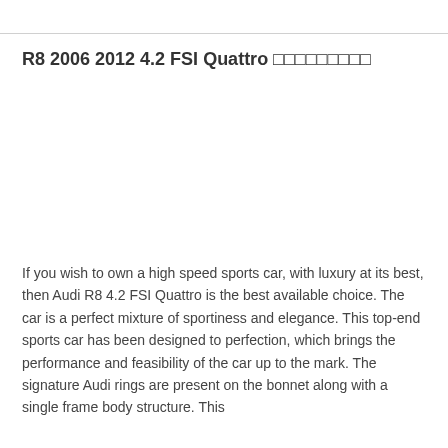R8 2006 2012 4.2 FSI Quattro □□□□□□□□□
If you wish to own a high speed sports car, with luxury at its best, then Audi R8 4.2 FSI Quattro is the best available choice. The car is a perfect mixture of sportiness and elegance. This top-end sports car has been designed to perfection, which brings the performance and feasibility of the car up to the mark. The signature Audi rings are present on the bonnet along with a single frame body structure. This